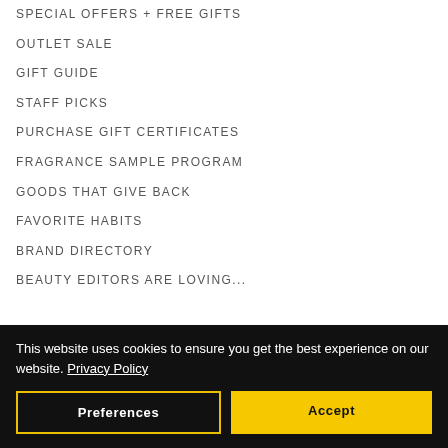SPECIAL OFFERS + FREE GIFTS
OUTLET SALE
GIFT GUIDE
STAFF PICKS
PURCHASE GIFT CERTIFICATES
FRAGRANCE SAMPLE PROGRAM
GOODS THAT GIVE BACK
FAVORITE HABITS
BRAND DIRECTORY
BEAUTY EDITORS ARE LOVING...
This website uses cookies to ensure you get the best experience on our website. Privacy Policy
Preferences | Accept